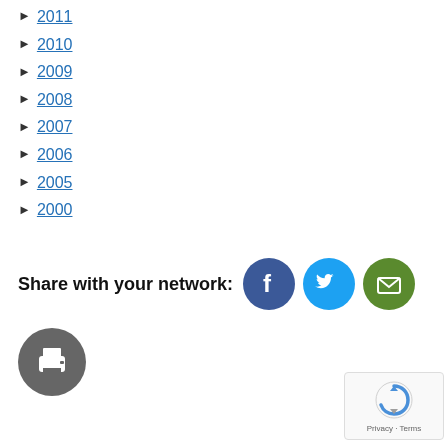► 2011
► 2010
► 2009
► 2008
► 2007
► 2006
► 2005
► 2000
Share with your network:
[Figure (infographic): Social share icons: Facebook (blue circle with f), Twitter (light blue circle with bird), Email (green circle with envelope), Print (gray circle with printer icon), reCAPTCHA widget]